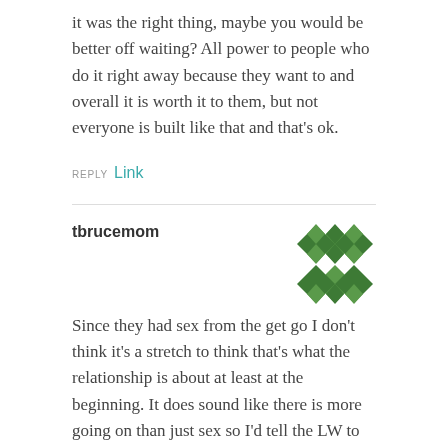it was the right thing, maybe you would be better off waiting? All power to people who do it right away because they want to and overall it is worth it to them, but not everyone is built like that and that's ok.
REPLY Link
tbrucemom
[Figure (illustration): Green geometric snowflake/star pattern avatar for user tbrucemom]
Since they had sex from the get go I don't think it's a stretch to think that's what the relationship is about at least at the beginning. It does sound like there is more going on than just sex so I'd tell the LW to do exactly what Wendy said and go for it. He's only been divorced 2 years and has a young child so it's understandable that he'd want to take it slow, but I think it's better to know now whether or not he's